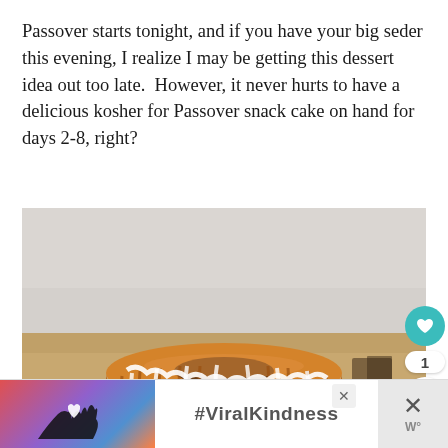Passover starts tonight, and if you have your big seder this evening, I realize I may be getting this dessert idea out too late.  However, it never hurts to have a delicious kosher for Passover snack cake on hand for days 2-8, right?
[Figure (photo): A bundt cake with white glaze drizzled over it, sitting on a wooden surface against a light gray background. Social sharing buttons visible on the right side.]
[Figure (infographic): Advertisement banner at the bottom showing hands forming a heart shape with the text #ViralKindness, with close buttons]